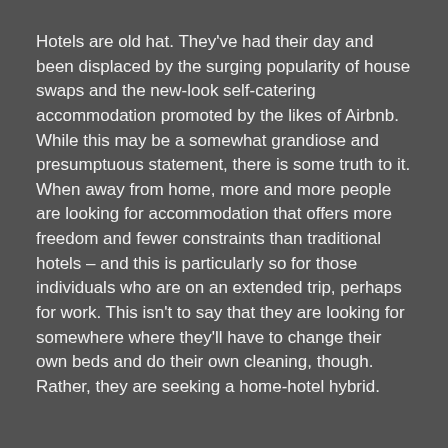Hotels are old hat. They've had their day and been displaced by the surging popularity of house swaps and the new-look self-catering accommodation promoted by the likes of Airbnb. While this may be a somewhat grandiose and presumptuous statement, there is some truth to it. When away from home, more and more people are looking for accommodation that offers more freedom and fewer constraints than traditional hotels – and this is particularly so for those individuals who are on an extended trip, perhaps for work. This isn't to say that they are looking for somewhere where they'll have to change their own beds and do their own cleaning, though. Rather, they are seeking a home-hotel hybrid.